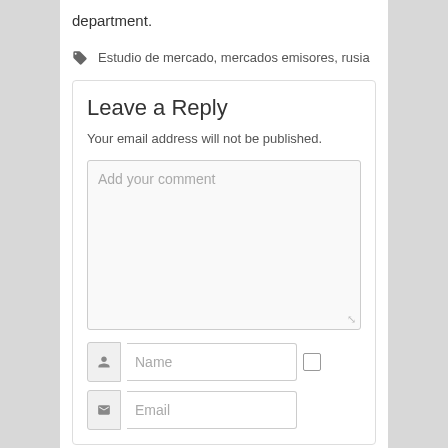department.
Estudio de mercado, mercados emisores, rusia
Leave a Reply
Your email address will not be published.
Add your comment
Name
Email